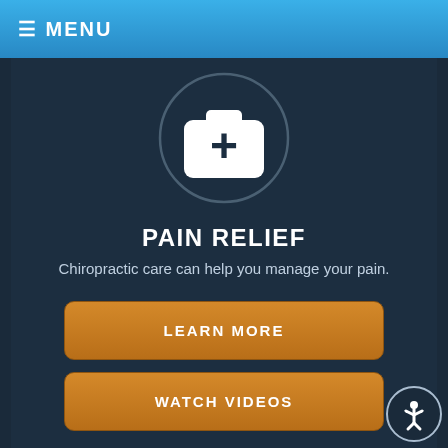≡ MENU
[Figure (illustration): Medical first aid kit icon with plus symbol inside a circle on dark blue background]
PAIN RELIEF
Chiropractic care can help you manage your pain.
LEARN MORE
WATCH VIDEOS